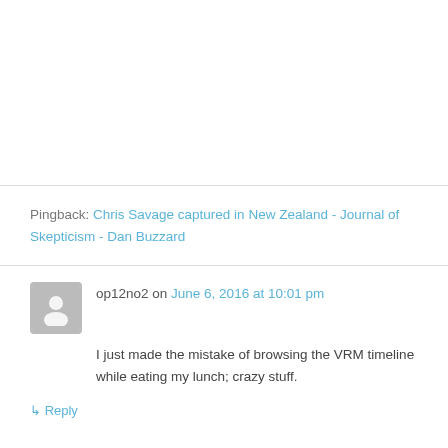Pingback: Chris Savage captured in New Zealand - Journal of Skepticism - Dan Buzzard
op12no2 on June 6, 2016 at 10:01 pm
I just made the mistake of browsing the VRM timeline while eating my lunch; crazy stuff.
↳ Reply